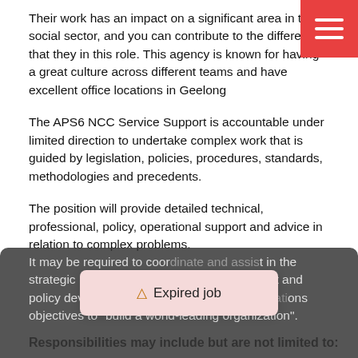[Figure (other): Red hamburger menu button in top-right corner]
Their work has an impact on a significant area in the social sector, and you can contribute to the difference that they in this role. This agency is known for having a great culture across different teams and have excellent office locations in Geelong
The APS6 NCC Service Support is accountable under limited direction to undertake complex work that is guided by legislation, policies, procedures, standards, methodologies and precedents.
The position will provide detailed technical, professional, policy, operational support and advice in relation to complex problems.
It may be required to coordinate and assist in the strategic planning, program and [content] and policy development that supp[orts] [organizati]ons objectives to "build a world-leading organization".
[Figure (other): Expired job popup notification with warning triangle icon]
Responsibilities may include but are not limited to: